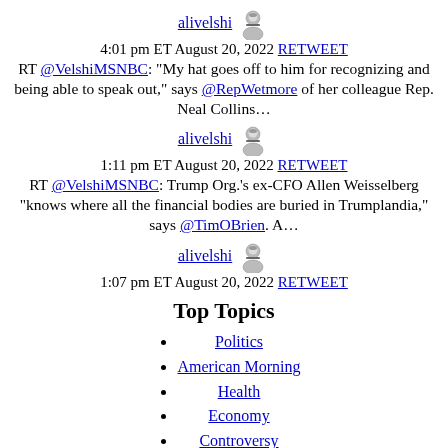alivelshi 4:01 pm ET August 20, 2022 RETWEET RT @VelshiMSNBC: "My hat goes off to him for recognizing and being able to speak out," says @RepWetmore of her colleague Rep. Neal Collins…
alivelshi 1:11 pm ET August 20, 2022 RETWEET RT @VelshiMSNBC: Trump Org.'s ex-CFO Allen Weisselberg "knows where all the financial bodies are buried in Trumplandia," says @TimOBrien. A…
alivelshi 1:07 pm ET August 20, 2022 RETWEET
Top Topics
Politics
American Morning
Health
Economy
Controversy